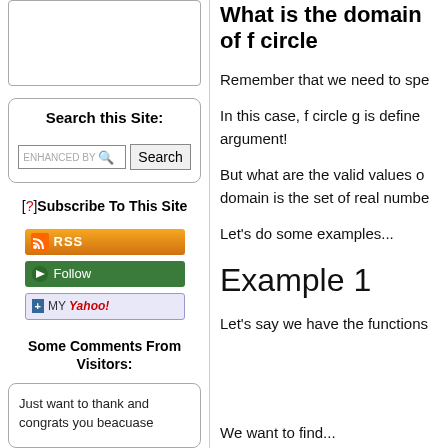[Figure (other): Empty white box with border at top of left sidebar]
Search this Site:
[Figure (other): Search box with ENHANCED BY label and Search button]
[?]Subscribe To This Site
[Figure (other): RSS button (orange)]
[Figure (other): Follow button (green)]
[Figure (other): My Yahoo button (blue/white)]
Some Comments From Visitors:
Just want to thank and congrats you beacuase
What is the domain of f circle
Remember that we need to spe
In this case, f circle g is define argument!
But what are the valid values o domain is the set of real numbe
Let's do some examples...
Example 1
Let's say we have the functions
We want to find...